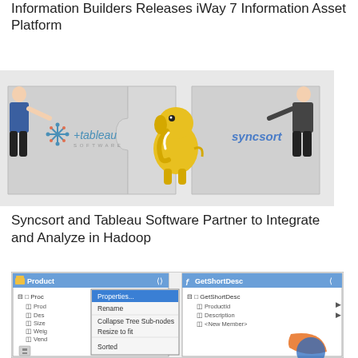Information Builders Releases iWay 7 Information Asset Platform
[Figure (illustration): Two puzzle pieces being pushed together by two people (a man on the left and a woman on the right). Left puzzle piece shows Tableau Software logo; center shows a yellow Hadoop elephant mascot; right puzzle piece shows Syncsort logo.]
Syncsort and Tableau Software Partner to Integrate and Analyze in Hadoop
[Figure (screenshot): Screenshot of a software application UI showing two panels: 'Product' tree on the left with nodes including Prod, Des, Size, Weig, Vend, and a context menu with options Properties..., Rename, Collapse Tree Sub-nodes, Resize to fit, Sorted; and 'GetShortDesc' tree on the right with nodes ProductId, Description, <New Member>, and a partial orange/blue logo at the bottom.]